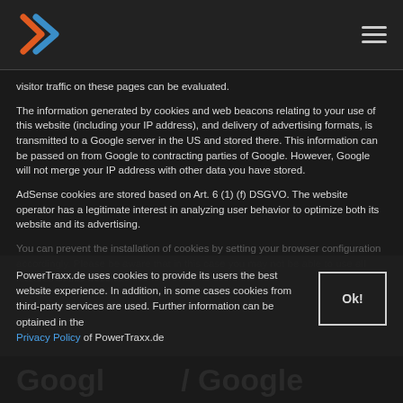PowerTraxx.de logo and hamburger menu
visitor traffic on these pages can be evaluated.
The information generated by cookies and web beacons relating to your use of this website (including your IP address), and delivery of advertising formats, is transmitted to a Google server in the US and stored there. This information can be passed on from Google to contracting parties of Google. However, Google will not merge your IP address with other data you have stored.
AdSense cookies are stored based on Art. 6 (1) (f) DSGVO. The website operator has a legitimate interest in analyzing user behavior to optimize both its website and its advertising.
You can prevent the installation of cookies by setting your browser configuration accordingly. Please be aware that in this case you may not be able to use all features of this website.
PowerTraxx.de uses cookies to provide its users the best website experience. In addition, in some cases cookies from third-party services are used. Further information can be optained in the Privacy Policy of PowerTraxx.de
Google Analytics / Google